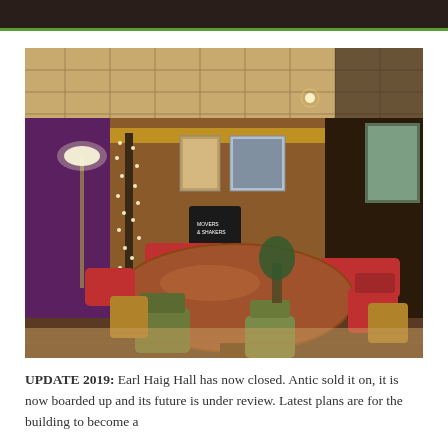[Figure (photo): Interior of Earl Haig Hall showing a large oval wooden table with green and red upholstered chairs around it, fairy lights on a decorative tree, warm ambient lighting, posters on walls, and a casual community venue atmosphere.]
UPDATE 2019: Earl Haig Hall has now closed. Antic sold it on, it is now boarded up and its future is under review. Latest plans are for the building to become a